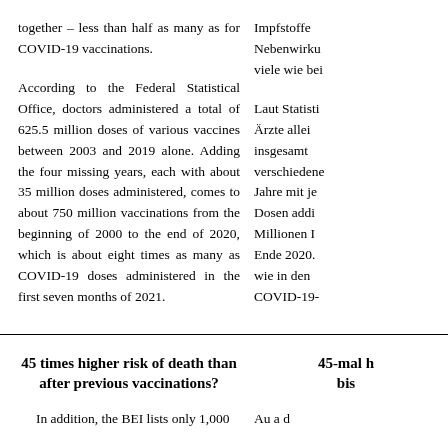together – less than half as many as for COVID-19 vaccinations.
Impfstoffe Nebenwirkungen viele wie bei
According to the Federal Statistical Office, doctors administered a total of 625.5 million doses of various vaccines between 2003 and 2019 alone. Adding the four missing years, each with about 35 million doses administered, comes to about 750 million vaccinations from the beginning of 2000 to the end of 2020, which is about eight times as many as COVID-19 doses administered in the first seven months of 2021.
Laut Statistik Ärzte allein insgesamt verschiedene Jahre mit je Dosen addi Millionen I Ende 2020. wie in den COVID-19-
45 times higher risk of death than after previous vaccinations?
45-mal h bis
In addition, the BEI lists only 1,000